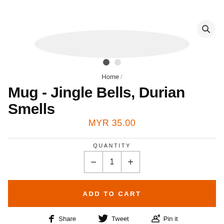[Figure (screenshot): Top portion of a mug product image, cropped, with a magnifying glass/search icon in the top right corner]
[Figure (other): Two dot carousel indicators, first dot active (dark), second dot inactive (light gray)]
Home /
Mug - Jingle Bells, Durian Smells
MYR 35.00
QUANTITY
- 1 +
ADD TO CART
Share  Tweet  Pin it